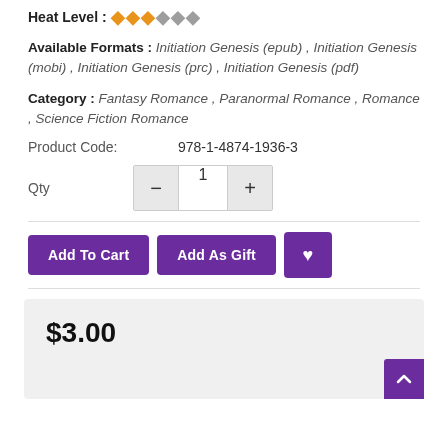Heat Level: 3 out of 6 flames
Available Formats: Initiation Genesis (epub), Initiation Genesis (mobi), Initiation Genesis (prc), Initiation Genesis (pdf)
Category: Fantasy Romance, Paranormal Romance, Romance, Science Fiction Romance
Product Code: 978-1-4874-1936-3
Qty 1
Add To Cart | Add As Gift | ♥
$3.00